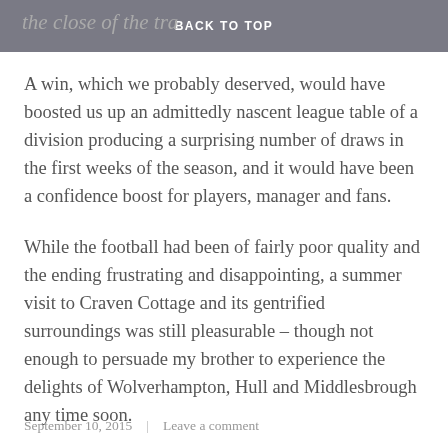the close of the transfer window. BACK TO TOP
A win, which we probably deserved, would have boosted us up an admittedly nascent league table of a division producing a surprising number of draws in the first weeks of the season, and it would have been a confidence boost for players, manager and fans.
While the football had been of fairly poor quality and the ending frustrating and disappointing, a summer visit to Craven Cottage and its gentrified surroundings was still pleasurable – though not enough to persuade my brother to experience the delights of Wolverhampton, Hull and Middlesbrough any time soon.
September 10, 2015    Leave a comment